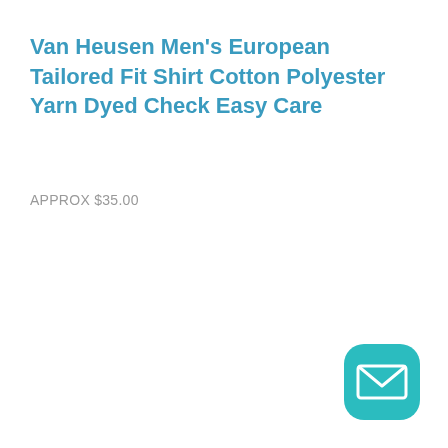Van Heusen Men's European Tailored Fit Shirt Cotton Polyester Yarn Dyed Check Easy Care
APPROX $35.00
[Figure (illustration): Teal rounded square button with a white envelope/mail icon in the bottom-right corner of the page]